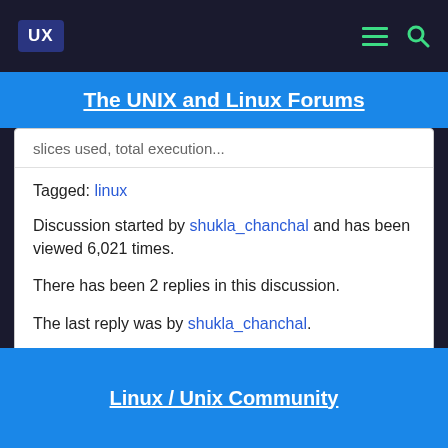UX
The UNIX and Linux Forums
slices used, total execution...
Tagged: linux
Discussion started by shukla_chanchal and has been viewed 6,021 times.
There has been 2 replies in this discussion.
The last reply was by shukla_chanchal.
Linux / Unix Community